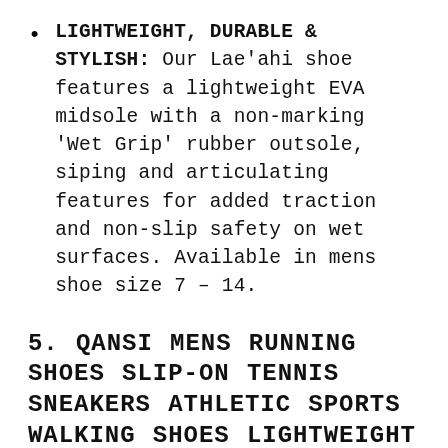LIGHTWEIGHT, DURABLE & STYLISH: Our Lae'ahi shoe features a lightweight EVA midsole with a non-marking 'Wet Grip' rubber outsole, siping and articulating features for added traction and non-slip safety on wet surfaces. Available in mens shoe size 7 – 14.
5. QANSI MENS RUNNING SHOES SLIP-ON TENNIS SNEAKERS ATHLETIC SPORTS WALKING SHOES LIGHTWEIGHT WORKOUT GYM SHOES BLACK 10.5